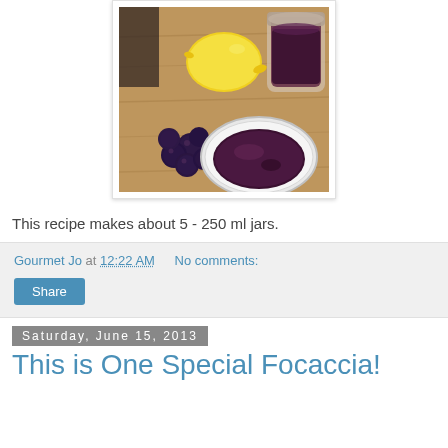[Figure (photo): Photo of blueberry jam in a white bowl, fresh blueberries, a lemon, and a glass jar of jam on a wooden cutting board background]
This recipe makes about 5 - 250 ml jars.
Gourmet Jo at 12:22 AM   No comments:
Share
Saturday, June 15, 2013
This is One Special Focaccia!